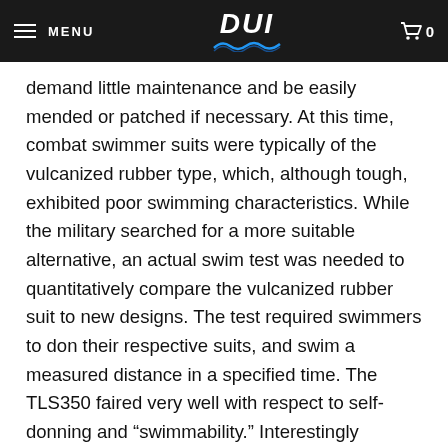MENU | DUI | 0
demand little maintenance and be easily mended or patched if necessary. At this time, combat swimmer suits were typically of the vulcanized rubber type, which, although tough, exhibited poor swimming characteristics. While the military searched for a more suitable alternative, an actual swim test was needed to quantitatively compare the vulcanized rubber suit to new designs. The test required swimmers to don their respective suits, and swim a measured distance in a specified time. The TLS350 faired very well with respect to self-donning and “swimmability.” Interestingly enough, the features that made this suit desirable to military divers also made them attractive to